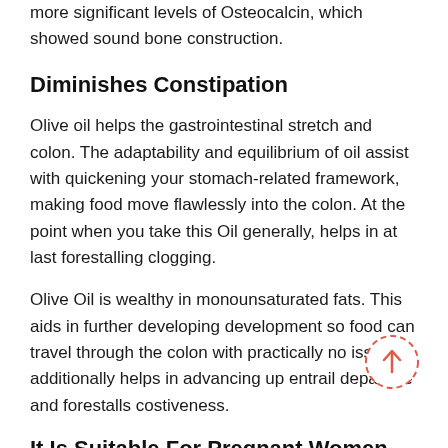more significant levels of Osteocalcin, which showed sound bone construction.
Diminishes Constipation
Olive oil helps the gastrointestinal stretch and colon. The adaptability and equilibrium of oil assist with quickening your stomach-related framework, making food move flawlessly into the colon. At the point when you take this Oil generally, helps in at last forestalling clogging.
Olive Oil is wealthy in monounsaturated fats. This aids in further developing development so food can travel through the colon with practically no issue. It additionally helps in advancing up entrail departure and forestalls costiveness.
It Is Suitable For Pregnant Women
Pregnant ladies ought to eat olive oil. It further develops the child's psychomotor reflexes and gives it formative interests. Likewise, prescriptions as though Fildena pills and Cenforce